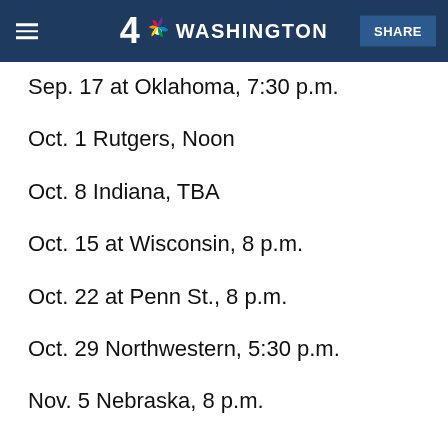NBC4 Washington
Sep. 17 at Oklahoma, 7:30 p.m.
Oct. 1 Rutgers, Noon
Oct. 8 Indiana, TBA
Oct. 15 at Wisconsin, 8 p.m.
Oct. 22 at Penn St., 8 p.m.
Oct. 29 Northwestern, 5:30 p.m.
Nov. 5 Nebraska, 8 p.m.